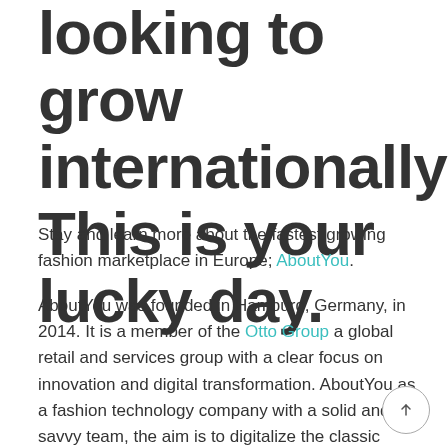looking to grow internationally? This is your lucky day.
Stay and learn more about the fastest growing fashion marketplace in Europe; AboutYou.
AboutYou was founded in Hamburg, Germany, in 2014. It is a member of the Otto Group a global retail and services group with a clear focus on innovation and digital transformation. AboutYou as a fashion technology company with a solid and savvy team, the aim is to digitalize the classic shopping stroll by creating an inspiring, personalized and unique shopping experience on the smartphone